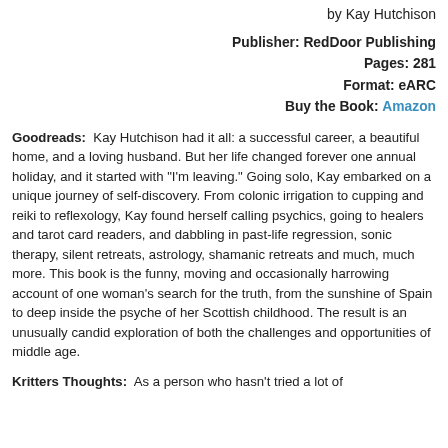by Kay Hutchison
Publisher: RedDoor Publishing
Pages: 281
Format: eARC
Buy the Book: Amazon
Goodreads: Kay Hutchison had it all: a successful career, a beautiful home, and a loving husband. But her life changed forever one annual holiday, and it started with "I'm leaving." Going solo, Kay embarked on a unique journey of self-discovery. From colonic irrigation to cupping and reiki to reflexology, Kay found herself calling psychics, going to healers and tarot card readers, and dabbling in past-life regression, sonic therapy, silent retreats, astrology, shamanic retreats and much, much more. This book is the funny, moving and occasionally harrowing account of one woman's search for the truth, from the sunshine of Spain to deep inside the psyche of her Scottish childhood. The result is an unusually candid exploration of both the challenges and opportunities of middle age.
Kritters Thoughts: As a person who hasn't tried a lot of